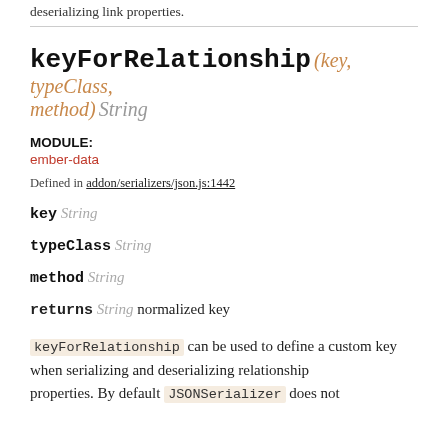deserializing link properties.
keyForRelationship (key, typeClass, method) String
MODULE:
ember-data
Defined in addon/serializers/json.js:1442
key String
typeClass String
method String
returns String normalized key
keyForRelationship can be used to define a custom key when serializing and deserializing relationship properties. By default JSONSerializer does not